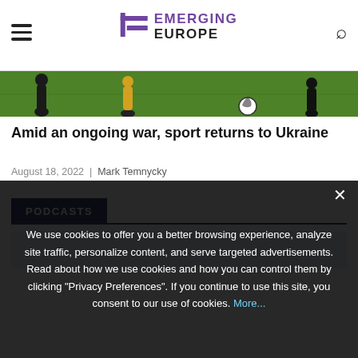Emerging Europe
[Figure (photo): Soccer/football players on a green pitch, partial view showing legs and a football]
Amid an ongoing war, sport returns to Ukraine
August 18, 2022 | Mark Temnycky
PODCASTS
[Figure (screenshot): Podcast thumbnail area, light blue-grey background]
We use cookies to offer you a better browsing experience, analyze site traffic, personalize content, and serve targeted advertisements. Read about how we use cookies and how you can control them by clicking "Privacy Preferences". If you continue to use this site, you consent to our use of cookies. More...